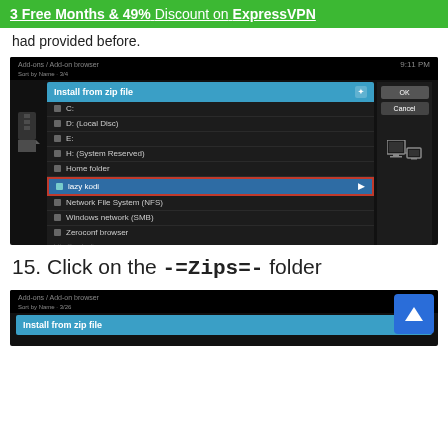3 Free Months & 49% Discount on ExpressVPN
had provided before.
[Figure (screenshot): Kodi Add-on browser showing 'Install from zip file' dialog with list of sources including C:, D: (Local Disc), E:, H: (System Reserved), Home folder, lazy kodi (selected/highlighted), Network File System (NFS), Windows network (SMB), Zeroconf browser. http://lazykodi.com shown at bottom. OK and Cancel buttons on right side.]
15. Click on the -=Zips=- folder
[Figure (screenshot): Kodi Add-on browser showing 'Install from zip file' dialog header at bottom of page.]